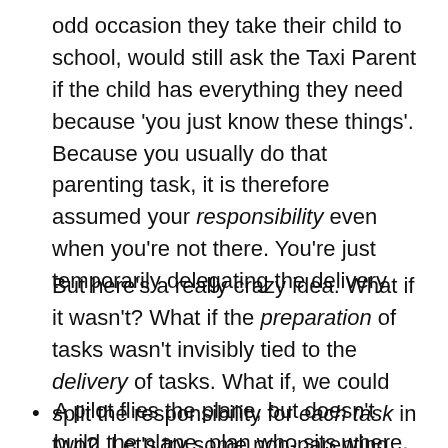odd occasion they take their child to school, would still ask the Taxi Parent if the child has everything they need because 'you just know these things'. Because you usually do that parenting task, it is therefore assumed your responsibility even when you're not there. You're just temporarily delegating the delivery.
But here's a really crazy idea. What if it wasn't? What if the preparation of tasks wasn't invisibly tied to the delivery of tasks. What if, we could split the responsibility for each task in two?  Let's try some non-parenting examples first….
A pilot flies the plane, but doesn't build the plane, plan who sits where, or serve snacks to